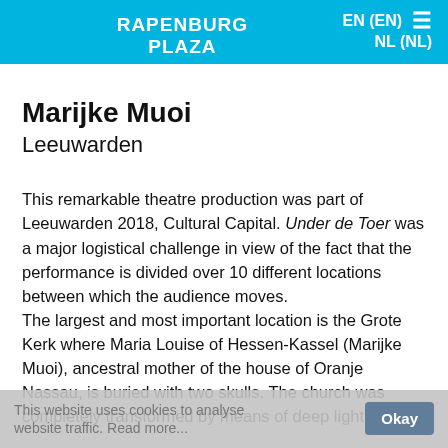RAPENBURG PLAZA   EN (EN)  ≡  NL (NL)
Marijke Muoi
Leeuwarden
This remarkable theatre production was part of Leeuwarden 2018, Cultural Capital. Under de Toer was a major logistical challenge in view of the fact that the performance is divided over 10 different locations between which the audience moves.
The largest and most important location is the Grote Kerk where Maria Louise of Hessen-Kassel (Marijke Muoi), ancestral mother of the house of Oranje Nassau, is buried with two skulls. The church was completely transformed by means of deep lighting and
This website uses cookies to analyse website traffic. Read more...